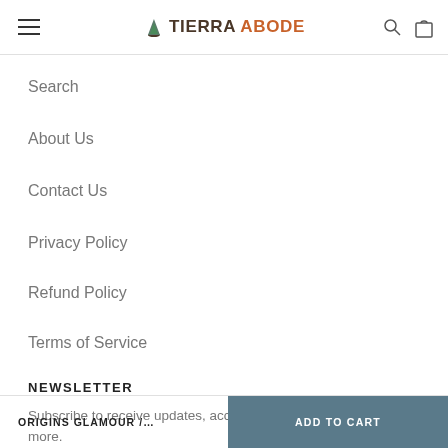TIERRA ABODE
Search
About Us
Contact Us
Privacy Policy
Refund Policy
Terms of Service
NEWSLETTER
Subscribe to receive updates, access to exclusive deals, and more.
ORIGINS GLAMOUR /…    ADD TO CART